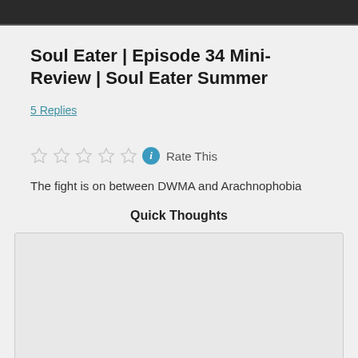[Figure (screenshot): Cropped top portion of a video player thumbnail, dark background]
Soul Eater | Episode 34 Mini-Review | Soul Eater Summer
5 Replies
[Figure (other): Five empty star rating icons followed by a teal info icon and 'Rate This' text]
The fight is on between DWMA and Arachnophobia
Quick Thoughts
[Figure (other): Embedded content box, light gray, partially visible]